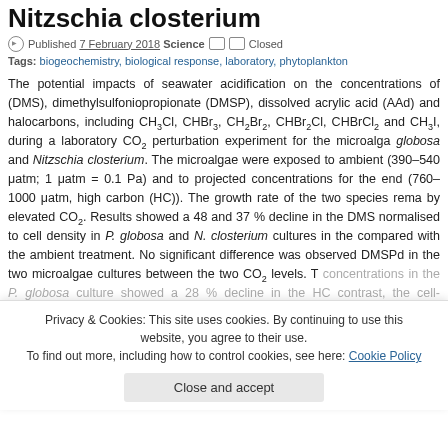Nitzschia closterium
Published 7 February 2018 Science Closed
Tags: biogeochemistry, biological response, laboratory, phytoplankton
The potential impacts of seawater acidification on the concentrations of (DMS), dimethylsulfoniopropionate (DMSP), dissolved acrylic acid (AAd) and halocarbons, including CH3Cl, CHBr3, CH2Br2, CHBr2Cl, CHBrCl2 and CH3I, during a laboratory CO2 perturbation experiment for the microalga globosa and Nitzschia closterium. The microalgae were exposed to ambient (390–540 μatm; 1 μatm = 0.1 Pa) and to projected concentrations for the end (760–1000 μatm, high carbon (HC)). The growth rate of the two species remained by elevated CO2. Results showed a 48 and 37% decline in the DMS normalised to cell density in P. globosa and N. closterium cultures in the compared with the ambient treatment. No significant difference was observed DMSPd in the two microalgae cultures between the two CO2 levels. T concentrations in the P. globosa culture showed a 28% decline in the HC contrast, the cell-normalised concentrations of AAd in the HC treatment were 4 to the ambient treatment in N. closterium cultures. No CO2-induced effects we CH3Cl, CHBr3, CHBr2Cl, CHBrCl2 and CH3I, but cell-normalised con CH2Br2 in N. closterium cultures showed a 32% decline in the HC treatmen ambient level. These results show that the metabolism processes resp
Privacy & Cookies: This site uses cookies. By continuing to use this website, you agree to their use.
To find out more, including how to control cookies, see here: Cookie Policy
Close and accept